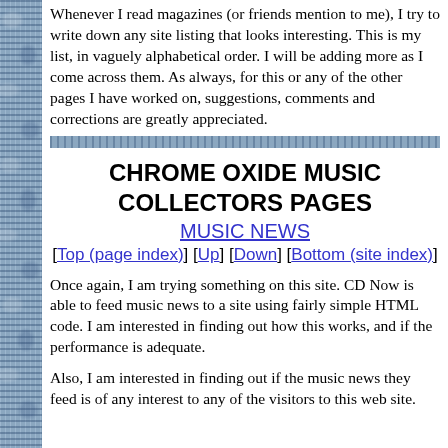Whenever I read magazines (or friends mention to me), I try to write down any site listing that looks interesting. This is my list, in vaguely alphabetical order. I will be adding more as I come across them. As always, for this or any of the other pages I have worked on, suggestions, comments and corrections are greatly appreciated.
CHROME OXIDE MUSIC COLLECTORS PAGES
MUSIC NEWS
[Top (page index)] [Up] [Down] [Bottom (site index)]
Once again, I am trying something on this site. CD Now is able to feed music news to a site using fairly simple HTML code. I am interested in finding out how this works, and if the performance is adequate.
Also, I am interested in finding out if the music news they feed is of any interest to any of the visitors to this web site.